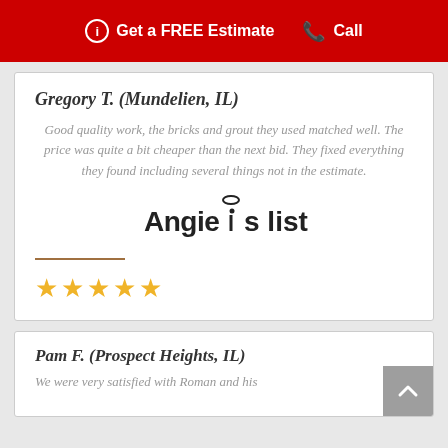Get a FREE Estimate  Call
Gregory T. (Mundelien, IL)
Good quality work, the bricks and grout they used matched well. The price was quite a bit cheaper than the next bid. They fixed everything they found including several things not in the estimate.
[Figure (logo): Angie's list logo]
★★★★★
Pam F. (Prospect Heights, IL)
We were very satisfied with Roman and his